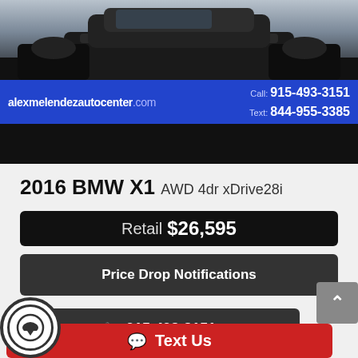[Figure (photo): Close-up photo of a black BMW vehicle front bumper and tires from below]
alexmelendezautocenter.com   Call: 915-493-3151   Text: 844-955-3385
2016 BMW X1 AWD 4dr xDrive28i
Retail  $26,595
Price Drop Notifications
915-493-3151
Text Us